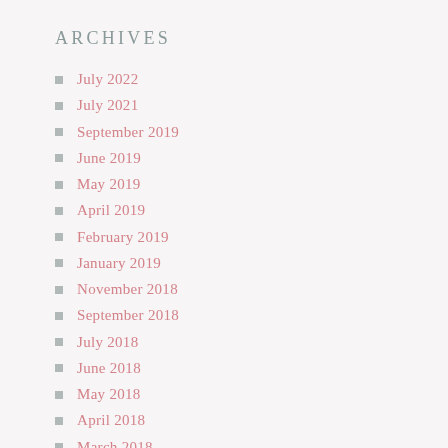ARCHIVES
July 2022
July 2021
September 2019
June 2019
May 2019
April 2019
February 2019
January 2019
November 2018
September 2018
July 2018
June 2018
May 2018
April 2018
March 2018
February 2018
January 2018
December 2017
November 2017
October 2017